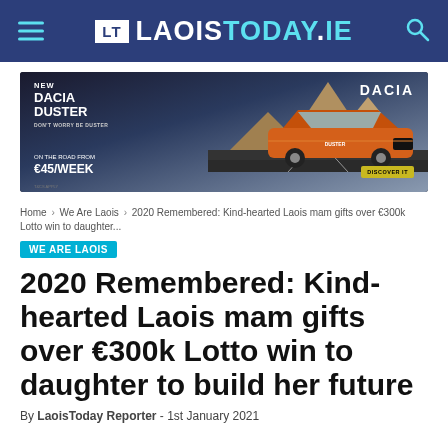LT LAOISTODAY.IE
[Figure (photo): Advertisement for New Dacia Duster SUV, orange car on a road with mountains, text: NEW DACIA DUSTER DON'T WORRY BE DUSTER, ON THE ROAD FROM €45/WEEK, DISCOVER IT, DACIA logo]
Home › We Are Laois › 2020 Remembered: Kind-hearted Laois mam gifts over €300k Lotto win to daughter...
WE ARE LAOIS
2020 Remembered: Kind-hearted Laois mam gifts over €300k Lotto win to daughter to build her future
By LaoisToday Reporter - 1st January 2021